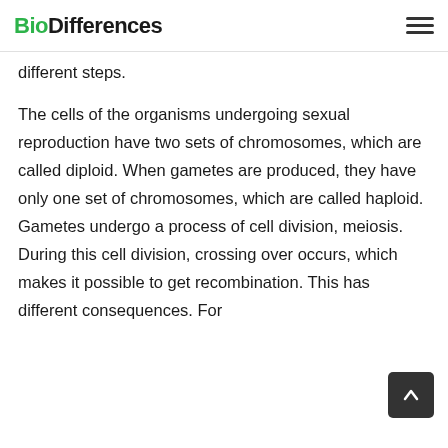BioDifferences
different steps.
The cells of the organisms undergoing sexual reproduction have two sets of chromosomes, which are called diploid. When gametes are produced, they have only one set of chromosomes, which are called haploid. Gametes undergo a process of cell division, meiosis. During this cell division, crossing over occurs, which makes it possible to get recombination. This has different consequences. For